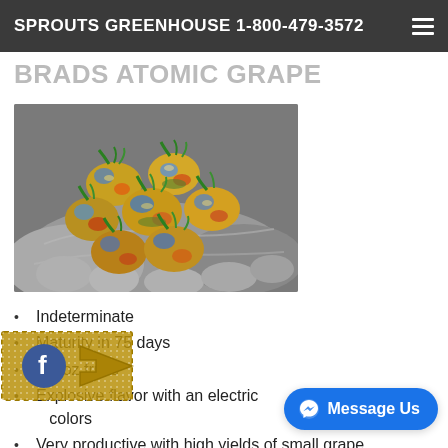SPROUTS GREENHOUSE 1-800-479-3572
BRADS ATOMIC GRAPE
[Figure (photo): Hands holding colorful multi-hued grape tomatoes with green stems against a black and white background. The tomatoes display vivid colors of blue, green, yellow, orange, and red in striped patterns.]
Indeterminate
Maturity in 75 days
1.5 oz fruits
Explosive flavor with an electric colors
Very productive with high yields of small grape